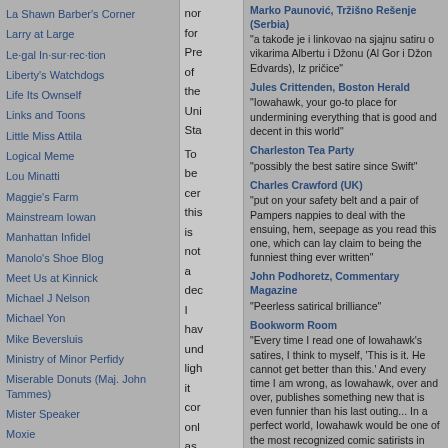La Shawn Barber's Corner
Larry at Large
Le·gal In·sur·rec·tion
Liberty's Watchdogs
Life Its Ownself
Links and Toons
Little Miss Attila
Logical Meme
Lou Minatti
Maggie's Farm
Mainstream Iowan
Manhattan Infidel
Manolo's Shoe Blog
Meet Us at Kinnick
Michael J Nelson
Michael Yon
Mike Beversluis
Ministry of Minor Perfidy
Miserable Donuts (Maj. John Tammes)
Mister Speaker
Moxie
Mr and Mrs McMuffin
nor for Pre of the Uni Sta To be cer this is not a dec I hav und ligh it cor onl as
Marko Paunović, Tržišno Rešenje (Serbia) "a takođe je i linkovao na sjajnu satiru o vikarima Albertu i Džonu (Al Gor i Džon Edvards), Iz pričice"
Jules Crittenden, Boston Herald "Iowahawk, your go-to place for undermining everything that is good and decent in this world"
Charleston Tea Party "possibly the best satire since Swift"
Charles Crawford (UK) "put on your safety belt and a pair of Pampers nappies to deal with the ensuing, hem, seepage as you read this one, which can lay claim to being the funniest thing ever written"
John Podhoretz, Commentary Magazine "Peerless satirical brilliance"
Bookworm Room "Every time I read one of Iowahawk's satires, I think to myself, 'This is it. He cannot get better than this.' And every time I am wrong, as Iowahawk, over and over, publishes something new that is even funnier than his last outing... In a perfect world, Iowahawk would be one of the most recognized comic satirists in America."
Ben Domenech, the New Ledger "widely esteemed"
Media Bistro / DC Fishbowl "A must read"
Mark Frauenfelder, Boing Boing "Iowahawk is my pal, he's funnier than he"